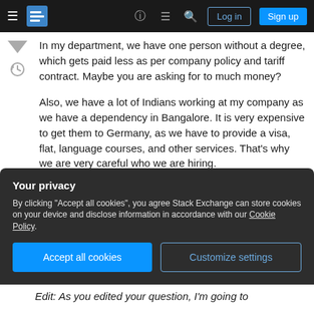Stack Exchange navigation bar with hamburger menu, logo, help, chat, search icons, Log in and Sign up buttons
In my department, we have one person without a degree, which gets paid less as per company policy and tariff contract. Maybe you are asking for to much money?
Also, we have a lot of Indians working at my company as we have a dependency in Bangalore. It is very expensive to get them to Germany, as we have to provide a visa, flat, language courses, and other services. That's why we are very careful who we are hiring.
Your privacy
By clicking "Accept all cookies", you agree Stack Exchange can store cookies on your device and disclose information in accordance with our Cookie Policy.
Accept all cookies
Customize settings
Edit: As you edited your question, I'm going to